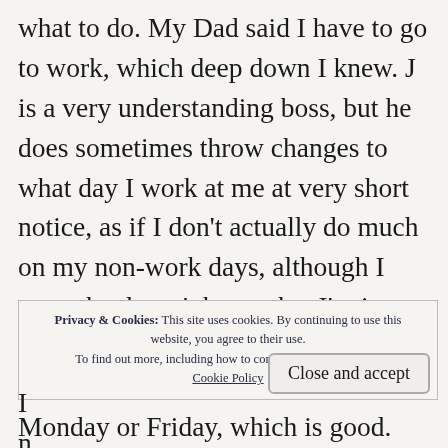what to do. My Dad said I have to go to work, which deep down I knew. J is a very understanding boss, but he does sometimes throw changes to what day I work at me at very short notice, as if I don't actually do much on my non-work days, although I guess he doesn't know that I'm in therapy. I emailed my therapist, and she thinks she can fit me in on Monday or Friday, which is good.
Privacy & Cookies: This site uses cookies. By continuing to use this website, you agree to their use. To find out more, including how to control cookies, see here: Cookie Policy
Close and accept
I
n